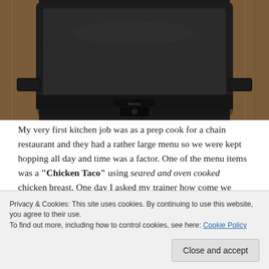[Figure (photo): A black non-stick electric griddle photographed from above, sitting on a wooden surface. The griddle surface is dark gray with a speckled texture and has raised handles on each end.]
My very first kitchen job was as a prep cook for a chain restaurant and they had a rather large menu so we were kept hopping all day and time was a factor. One of the menu items was a “Chicken Taco” using seared and oven cooked chicken breast. One day I asked my trainer how come we were searing the chicken breast, in batches, in favor a…instead of using the flat…
Privacy & Cookies: This site uses cookies. By continuing to use this website, you agree to their use.
To find out more, including how to control cookies, see here: Cookie Policy
Close and accept
Thankfully the subsequent places I worked at used their